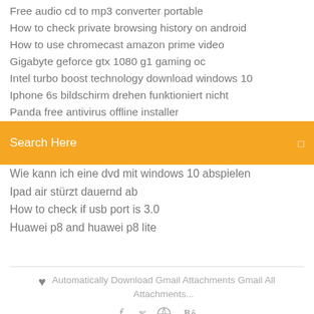Free audio cd to mp3 converter portable
How to check private browsing history on android
How to use chromecast amazon prime video
Gigabyte geforce gtx 1080 g1 gaming oc
Intel turbo boost technology download windows 10
Iphone 6s bildschirm drehen funktioniert nicht
Panda free antivirus offline installer
Search Here
Wie kann ich eine dvd mit windows 10 abspielen
Ipad air stürzt dauernd ab
How to check if usb port is 3.0
Huawei p8 and huawei p8 lite
Automatically Download Gmail Attachments Gmail All Attachments...